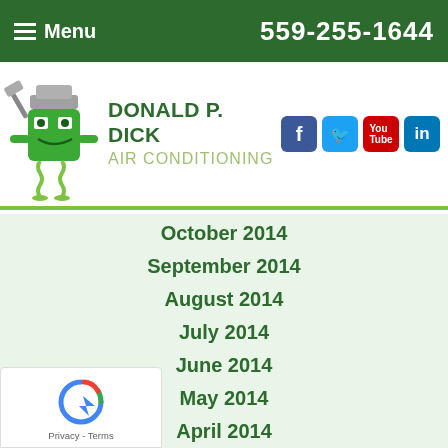Menu  559-255-1644
[Figure (logo): Donald P. Dick Air Conditioning logo with mascot character and social media icons (Facebook, Twitter, YouTube, LinkedIn)]
October 2014
September 2014
August 2014
July 2014
June 2014
May 2014
April 2014
March 2014
February 2014